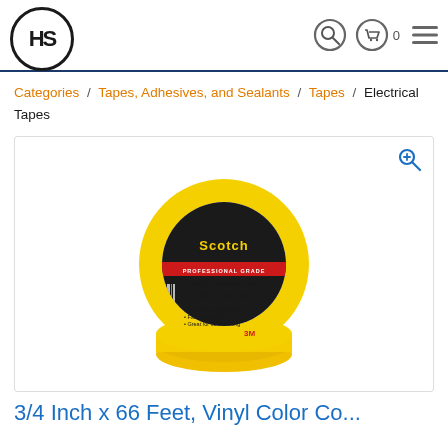HS [logo] — navigation icons
Categories / Tapes, Adhesives, and Sealants / Tapes / Electrical Tapes
[Figure (photo): Scotch Professional Grade Vinyl Electrical Tape 35 Yellow on a roll, 3M brand, yellow color, with product label showing bullet points: Super strong adhesion, Fade resistant, Great for color coding.]
3/4 Inch x 66 Feet, Vinyl Color Co...